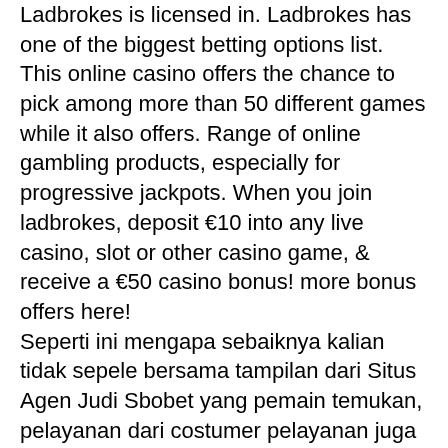Ladbrokes is licensed in. Ladbrokes has one of the biggest betting options list. This online casino offers the chance to pick among more than 50 different games while it also offers. Range of online gambling products, especially for progressive jackpots. When you join ladbrokes, deposit €10 into any live casino, slot or other casino game, &amp; receive a €50 casino bonus! more bonus offers here! Seperti ini mengapa sebaiknya kalian tidak sepele bersama tampilan dari Situs Agen Judi Sbobet yang pemain temukan, pelayanan dari costumer pelayanan juga perlu selalu aktif sepanjang 24 jam penuh, ladbrokes online casino review. Im Jahr 2012 wurde eine gesamtheitliche Regelung zum Glucksspiel in Deutschland eingefuhrt eine landerubergreifende Regelung, bei der sich allerdings ein Bundesstaat